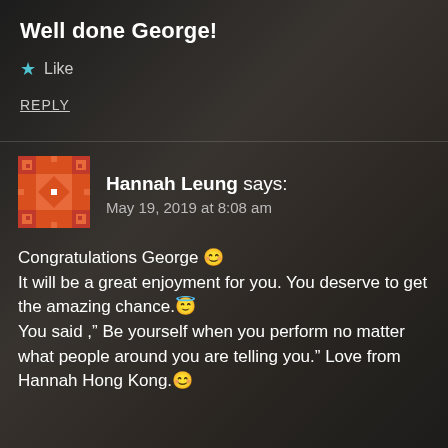Well done George!
★ Like
REPLY
[Figure (illustration): Orange and white pixel/quilt pattern avatar for Hannah Leung]
Hannah Leung says: May 19, 2019 at 8:08 am
Congratulations George 😊
It will be a great enjoyment for you. You deserve to get the amazing chance.😇
You said ," Be yourself when you perform no matter what people around you are telling you." Love from Hannah Hong Kong.😊